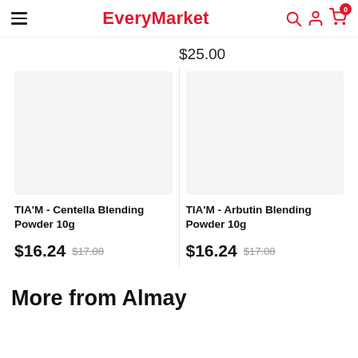EveryMarket
$25.00
TIA'M - Centella Blending Powder 10g
$16.24 $17.08
TIA'M - Arbutin Blending Powder 10g
$16.24 $17.08
More from Almay